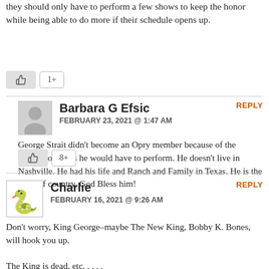they should only have to perform a few shows to keep the honor while being able to do more if their schedule opens up.
Barbara G Efsic
FEBRUARY 23, 2021 @ 1:47 AM
George Strait didn't become an Opry member because of the number of times he would have to perform. He doesn't live in Nashville. He had his life and Ranch and Family in Texas. He is the King of country. God Bless him!
Charlie
FEBRUARY 16, 2021 @ 9:26 AM
Don't worry, King George–maybe The New King, Bobby K. Bones, will hook you up.

The King is dead, etc. . . . .